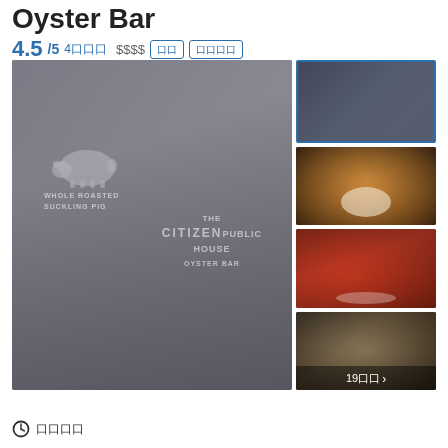Oyster Bar
4.5/5 4口口口  $$$$  口口  口口口口
[Figure (photo): Restaurant exterior photo of Citizen Public House Oyster Bar, showing front entrance with glass doors, pig logo, and 'WHOLE ROASTED SUCKLING PIG' and 'CITIZEN PUBLIC HOUSE OYSTER BAR' signage. Image is slightly faded/gray toned. To the right are 4 thumbnail photos: 1) restaurant exterior (highlighted with blue border), 2) a baked/roasted dish in a white bowl on dark slate, 3) meat dish with red sauce, 4) oysters on a plate. Below thumbnails shows '19口口 >']
口 口口口口